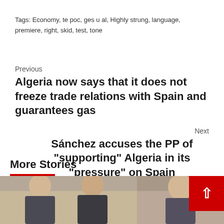Tags: Economy, te poc, ges u al, highly strung, language, premiere, right, skid, test, tone
Previous
Algeria now says that it does not freeze trade relations with Spain and guarantees gas
Next
Sánchez accuses the PP of "supporting" Algeria in its "pressure" on Spain
More Stories
[Figure (photo): Two people sitting at a table, partial view from below chin level]
[Figure (photo): Person partially visible, photo cut off at page edge]